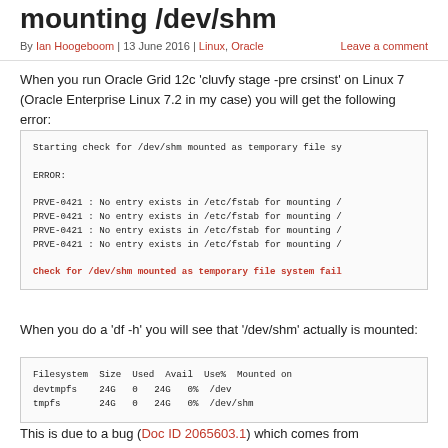mounting /dev/shm
By Ian Hoogeboom | 13 June 2016 | Linux, Oracle   Leave a comment
When you run Oracle Grid 12c 'cluvfy stage -pre crsinst' on Linux 7 (Oracle Enterprise Linux 7.2 in my case) you will get the following error:
Starting check for /dev/shm mounted as temporary file sy
ERROR:
PRVE-0421 : No entry exists in /etc/fstab for mounting /
PRVE-0421 : No entry exists in /etc/fstab for mounting /
PRVE-0421 : No entry exists in /etc/fstab for mounting /
PRVE-0421 : No entry exists in /etc/fstab for mounting /
Check for /dev/shm mounted as temporary file system fail
When you do a 'df -h' you will see that '/dev/shm' actually is mounted:
Filesystem Size Used Avail Use% Mounted on
devtmpfs  24G  0  24G  0% /dev
tmpfs      24G  0  24G  0% /dev/shm
This is due to a bug (Doc ID 2065603.1) which comes from the case that